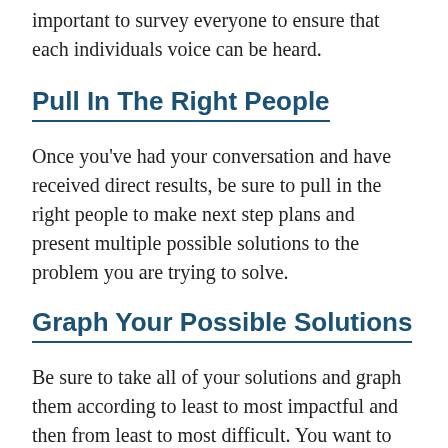important to survey everyone to ensure that each individuals voice can be heard.
Pull In The Right People
Once you've had your conversation and have received direct results, be sure to pull in the right people to make next step plans and present multiple possible solutions to the problem you are trying to solve.
Graph Your Possible Solutions
Be sure to take all of your solutions and graph them according to least to most impactful and then from least to most difficult. You want to fall